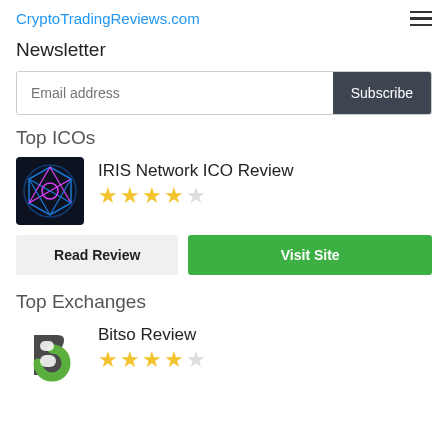CryptoTradingReviews.com
Newsletter
Email address  Subscribe
Top ICOs
IRIS Network ICO Review ★★★★☆
Read Review  Visit Site
Top Exchanges
Bitso Review ★★★★☆